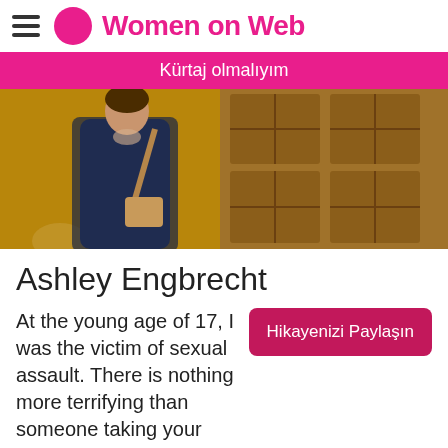Women on Web
Kürtaj olmalıyım
[Figure (photo): A woman standing in front of ornate wooden doors, wearing a navy blue dress and dark cardigan with a tan crossbody bag.]
Ashley Engbrecht
At the young age of 17, I was the victim of sexual assault. There is nothing more terrifying than someone taking your control from you in the most viscious way possible. As a result of this incident, I became
Hikayenizi Paylaşın